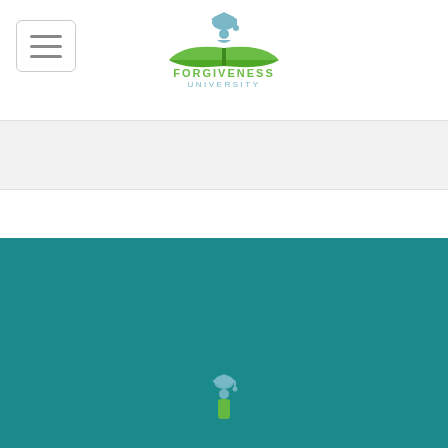[Figure (logo): Forgiveness University logo with graduation figure and open book, with text FORGIVENESS UNIVERSITY]
[Figure (other): Gray banner/hero image placeholder area]
HOME > SERVICES
[Figure (logo): Partial Forgiveness University logo icon at bottom of teal section]